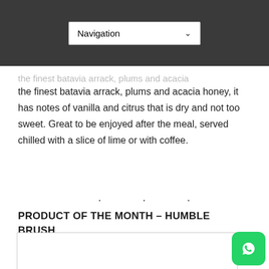Navigation
the finest batavia arrack, plums and acacia honey, it has notes of vanilla and citrus that is dry and not too sweet. Great to be enjoyed after the meal, served chilled with a slice of lime or with coffee.
· · ·
PRODUCT OF THE MONTH – HUMBLE BRUSH
[Figure (other): Empty image placeholder box with thin border]